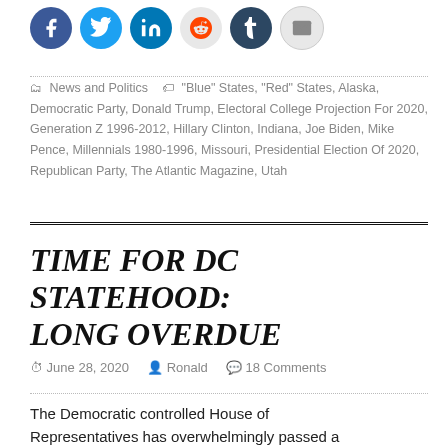[Figure (other): Social media sharing icons: Facebook (blue circle), Twitter (blue circle), LinkedIn (blue circle), Reddit (light circle), Tumblr (dark circle), Email (grey circle)]
News and Politics  "Blue" States, "Red" States, Alaska, Democratic Party, Donald Trump, Electoral College Projection For 2020, Generation Z 1996-2012, Hillary Clinton, Indiana, Joe Biden, Mike Pence, Millennials 1980-1996, Missouri, Presidential Election Of 2020, Republican Party, The Atlantic Magazine, Utah
TIME FOR DC STATEHOOD: LONG OVERDUE
June 28, 2020   Ronald   18 Comments
The Democratic controlled House of Representatives has overwhelmingly passed a